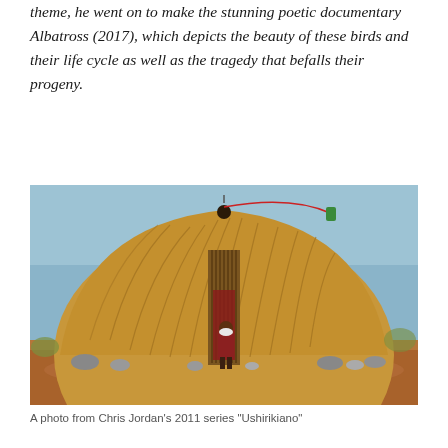theme, he went on to make the stunning poetic documentary Albatross (2017), which depicts the beauty of these birds and their life cycle as well as the tragedy that befalls their progeny.
[Figure (photo): A large dome-shaped thatched hut with a vertical stick doorway. A child in a red jacket stands in front drinking from a white bowl. Dry red-earth ground, sparse scrubby vegetation and rocks around the base. Clear blue sky.]
A photo from Chris Jordan's 2011 series "Ushirikiano"